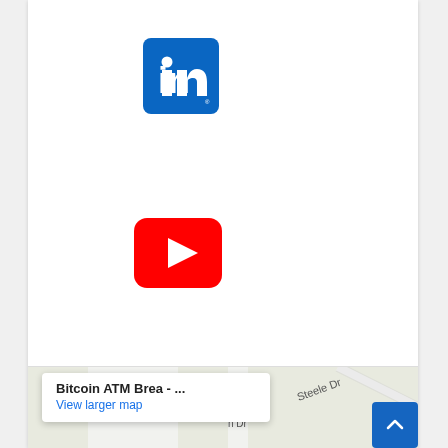[Figure (logo): LinkedIn logo: blue rounded square with white 'in' text]
[Figure (logo): YouTube logo: red rounded square with white play button triangle]
[Figure (logo): Twitter logo: blue rounded square with white bird icon]
[Figure (map): Google Maps partial view showing Steele Dr area with Bitcoin ATM Brea popup]
Bitcoin ATM Brea - ...
View larger map